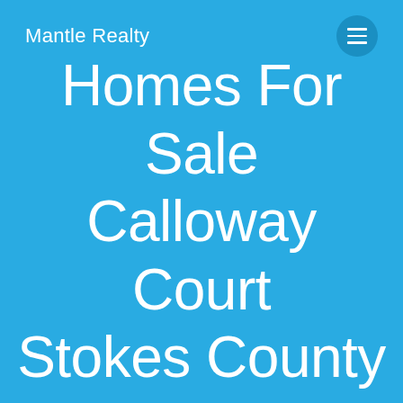Mantle Realty
Homes For Sale Calloway Court Stokes County